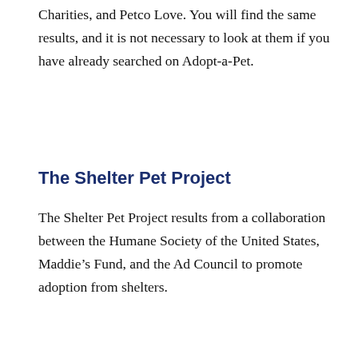Charities, and Petco Love. You will find the same results, and it is not necessary to look at them if you have already searched on Adopt-a-Pet.
The Shelter Pet Project
The Shelter Pet Project results from a collaboration between the Humane Society of the United States, Maddie’s Fund, and the Ad Council to promote adoption from shelters.
[Figure (screenshot): Video player showing 'No compatible source was found for this media.' message overlaid on a blurred background. Below it is an advertisement for Mylanta showing 'SOOTHE HEARTBURN ON CONTACT AFTER DINNER.' with a BUY NOW button and 'FASTER THAN HEARTBURN' tagline.]